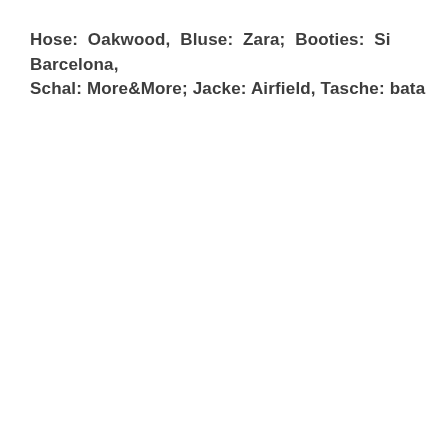Hose: Oakwood, Bluse: Zara; Booties: Si Barcelona, Schal: More&More; Jacke: Airfield, Tasche: bata